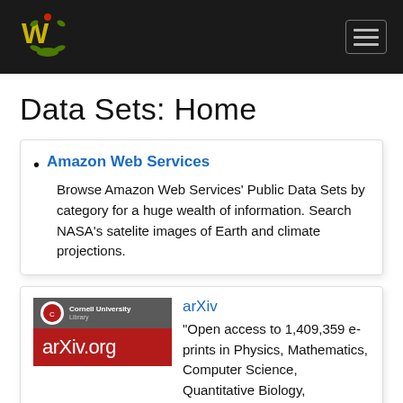Navigation bar with logo and menu icon
Data Sets: Home
Amazon Web Services — Browse Amazon Web Services' Public Data Sets by category for a huge wealth of information. Search NASA's satelite images of Earth and climate projections.
arXiv — "Open access to 1,409,359 e-prints in Physics, Mathematics, Computer Science, Quantitative Biology, Quantitative Finance, Statistics, Electrical Engineering and Systems Science, and Economics."